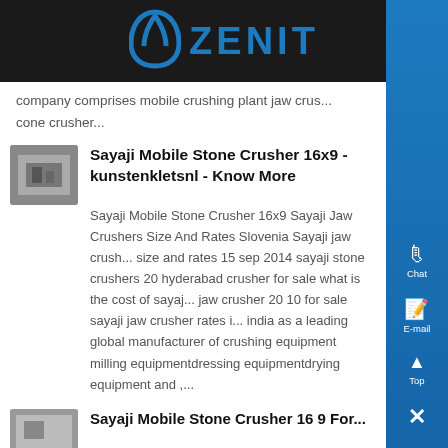ZENIT
company comprises mobile crushing plant jaw crus... cone crusher...
Sayaji Mobile Stone Crusher 16x9 - kunstenkletsnl - Know More
Sayaji Mobile Stone Crusher 16x9 Sayaji Jaw Crushers Size And Rates Slovenia Sayaji jaw crush... size and rates 15 sep 2014 sayaji stone crushers 20 hyderabad crusher for sale what is the cost of sayaj... jaw crusher 20 10 for sale sayaji jaw crusher rates i... india as a leading global manufacturer of crushing equipment milling equipmentdressing equipmentdrying equipment and ,...
Sayaji Mobile Stone Crusher 16 9 For...